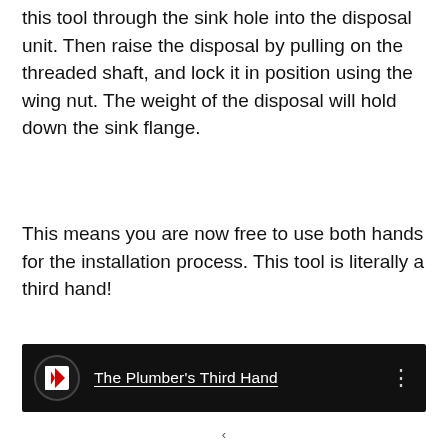this tool through the sink hole into the disposal unit. Then raise the disposal by pulling on the threaded shaft, and lock it in position using the wing nut. The weight of the disposal will hold down the sink flange.
This means you are now free to use both hands for the installation process. This tool is literally a third hand!
[Figure (screenshot): Video thumbnail bar with black background showing a logo (K letter in red/white square inside a circle) and the title 'The Plumber's Third Hand' in white underlined text, with a three-dot menu icon on the right.]